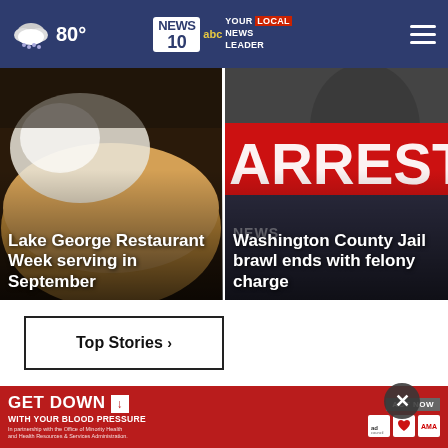80° NEWS 10 ABC YOUR LOCAL NEWS LEADER
[Figure (photo): Lake George Restaurant Week food photo - pie/dessert]
Lake George Restaurant Week serving in September
[Figure (photo): Washington County Jail brawl arrest news graphic with red ARREST banner]
Washington County Jail brawl ends with felony charge
Top Stories ›
[Figure (photo): Advertisement: GET DOWN WITH YOUR BLOOD PRESSURE - ACT NOW]
GET DOWN ↓ WITH YOUR BLOOD PRESSURE | In partnership with the Office of Minority Health and Health Resources & Services Administration. | ACT NOW